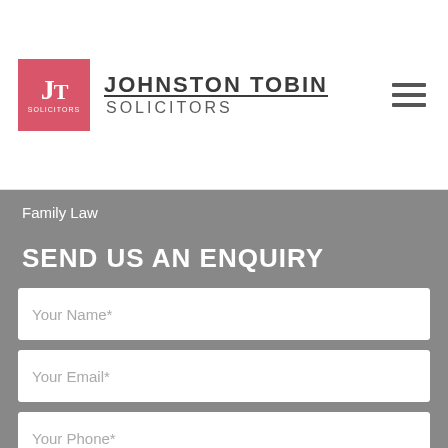[Figure (logo): Johnston Tobin Solicitors logo: pink/red square with JT initials and 'SOLICITORS' text beside it]
Family Law
SEND US AN ENQUIRY
Your Name*
Your Email*
Your Phone*